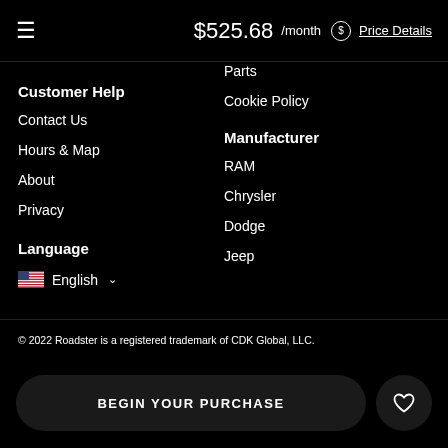$525.68 /month  Price Details
Parts
Cookie Policy
Customer Help
Contact Us
Hours & Map
About
Privacy
Manufacturer
RAM
Chrysler
Dodge
Jeep
Language
English
© 2022 Roadster is a registered trademark of CDK Global, LLC.
BEGIN YOUR PURCHASE